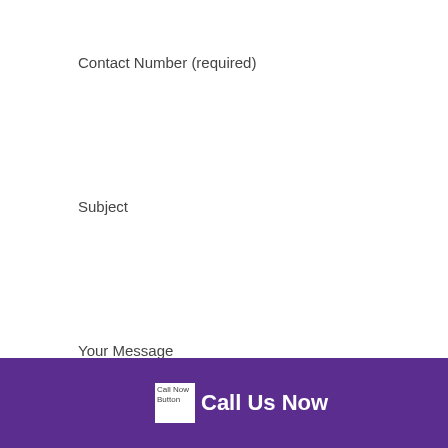Contact Number (required)
Subject
Your Message
[Figure (other): Call Now Button image with alt text 'Call Now Button' followed by 'Call Us Now' text on purple footer bar]